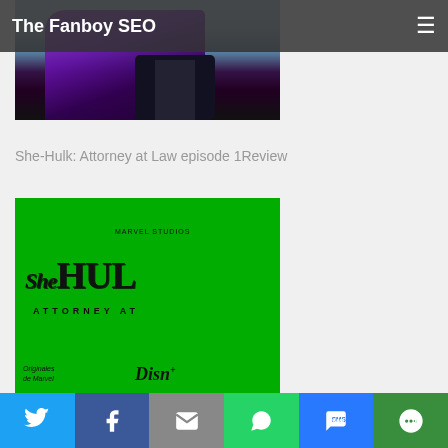The Fanboy SEO
[Figure (photo): Partial cropped image of a Marvel character in purple/dark costume against a blue-grey background, top portion only visible]
She-Hulk: Attorney at Law episode 1Review
[Figure (photo): She-Hulk: Attorney at Law promotional image with bright green tint overlay showing the She-Hulk logo text and 'Attorney At' text, with Disney+ branding visible at bottom]
Social share bar: Twitter, Facebook, Email, WhatsApp, SMS, More